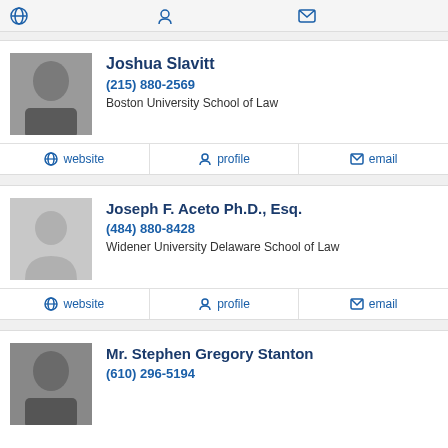Joshua Slavitt
(215) 880-2569
Boston University School of Law
website | profile | email
Joseph F. Aceto Ph.D., Esq.
(484) 880-8428
Widener University Delaware School of Law
website | profile | email
Mr. Stephen Gregory Stanton
(610) 296-5194